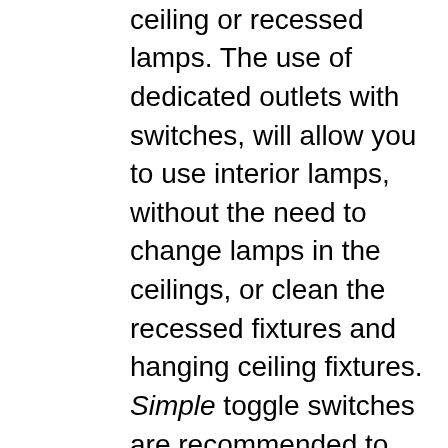number of different ceiling or recessed lamps. The use of dedicated outlets with switches, will allow you to use interior lamps, without the need to change lamps in the ceilings, or clean the recessed fixtures and hanging ceiling fixtures. Simple toggle switches are recommended to eliminate the maintenance required, if dimmers and more sophisticated switches are used. Copper wiring is also suggested in lieu of any attempts at using aluminum wiring. LED lamps in all the fixtures will be the simplest application of current technology which will offer you less maintenance and a simpler lighting plan. The use of blue-tooth wiring systems in the home is also recommended. There will be the audio fanatics that will insist that the hard wired systems will offer better sound. Unless the quality of the sound is tremendously important to you, I would simply recommend any of the advanced wireless systems that are on the market.